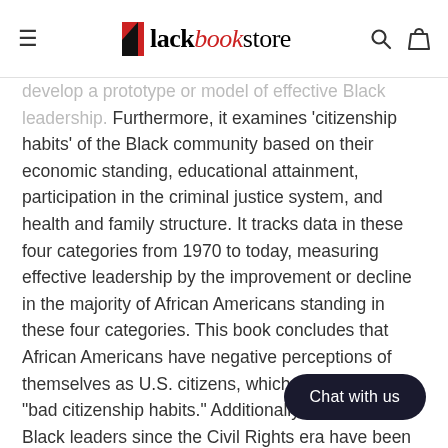Blackbookstore — navigation header with hamburger menu, logo, search and bag icons
develop a prototype or model of effective Black leadership. Furthermore, it examines 'citizenship habits' of the Black community based on their economic standing, educational attainment, participation in the criminal justice system, and health and family structure. It tracks data in these four categories from 1970 to today, measuring effective leadership by the improvement or decline in the majority of African Americans standing in these four categories. This book concludes that African Americans have negative perceptions of themselves as U.S. citizens, which thus produce "bad citizenship habits." Additionally, ineffective Black leaders since the Civil Rights era have been unwilling to demonstrate the purpose and significance of service, particularly to the poor and disadvantaged members of the Black community. Contemporary Black leaders (post-Civil Rights Era) have focused primarily on self-promotion, careerism, and interests. A new type of leader is needed, one that strengthens and reinforces commitment to the group as a whole by establishing new institutions that introduce community-building